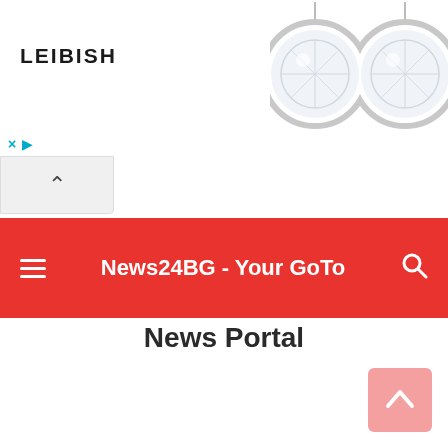[Figure (screenshot): LEIBISH advertisement banner with two diamond stud earrings on white background]
× ▷
[Figure (screenshot): Scroll-up chevron tab button]
News24BG - Your GoTo
News Portal
News Portal
[Figure (screenshot): Scroll to top button (pink arrow up)]